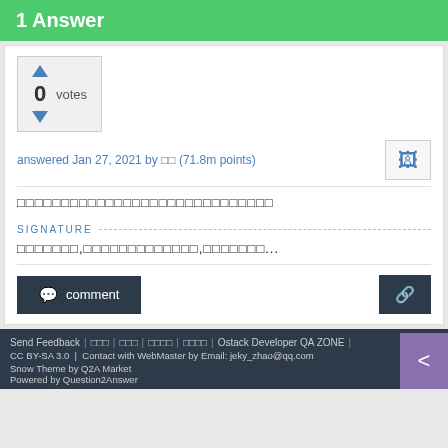1 Answer
[Figure (other): Vote widget showing 0 votes with up and down arrows]
answered Jan 27, 2021 by □□ (71.8m points)
□□□□□□□□□□□□□□□□□□□□□□□□□□□□□
SIGNATURE
□□□□□□□,□□□□□□□□□□□□□,□□□□□□□...
comment
Send Feedback | □□□ | □□□ | □□□□ | □□□□ | Ostack Developer QA ZONE | CC BY-SA 3.0 | Contact with WebMaster by Email: jeky_zhao@qq.com Snow Theme by Q2A Market Powered by Question2Answer